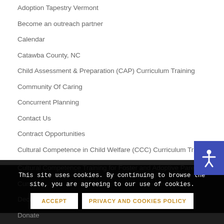Adoption Tapestry Vermont
Become an outreach partner
Calendar
Catawba County, NC
Child Assessment & Preparation (CAP) Curriculum Training
Community Of Caring
Concurrent Planning
Contact Us
Contract Opportunities
Cultural Competence in Child Welfare (CCC) Curriculum Training
Cultural Competence Training for Foster and Adoptive Parents
Curricula
Decision...
Donate
This site uses cookies. By continuing to browse the site, you are agreeing to our use of cookies.
ACCEPT
PRIVACY AND COOKIES POLICY